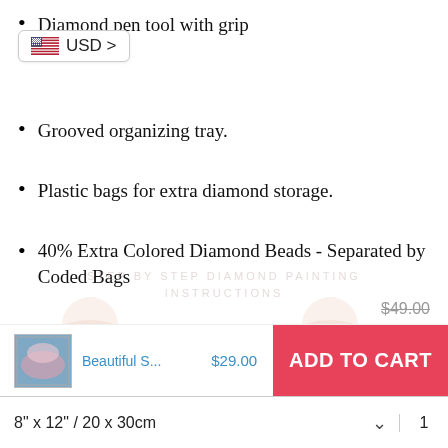Diamond pen tool with grip
[Figure (screenshot): USD currency selector badge with US flag icon]
Grooved organizing tray.
Plastic bags for extra diamond storage.
40% Extra Colored Diamond Beads - Separated by Coded Bags
Clear Printed Instructions.
$49.00
[Figure (infographic): Add to cart bar with product thumbnail of a diamond art cherry blossom painting, product name 'Beautiful S...', price $29.00, and red ADD TO CART button]
8" x 12" / 20 x 30cm  ∨  1